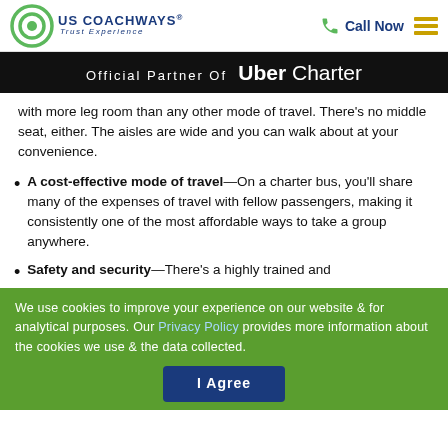US COACHWAYS® Trust Experience | Call Now
Official Partner Of Uber Charter
with more leg room than any other mode of travel. There's no middle seat, either. The aisles are wide and you can walk about at your convenience.
A cost-effective mode of travel—On a charter bus, you'll share many of the expenses of travel with fellow passengers, making it consistently one of the most affordable ways to take a group anywhere.
Safety and security—There's a highly trained and
We use cookies to improve your experience on our website & for analytical purposes. Our Privacy Policy provides more information about the cookies we use & the data collected.
I Agree